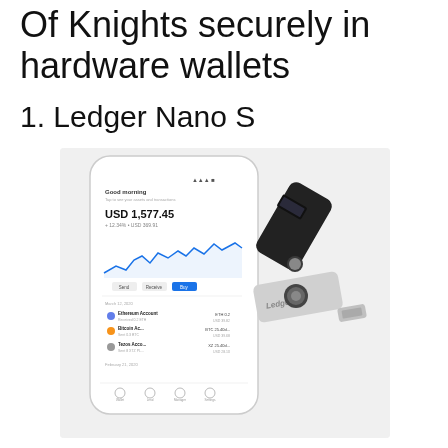Of Knights securely in hardware wallets
1. Ledger Nano S
[Figure (photo): Product photo showing a Ledger Nano S hardware wallet (USB-style device with screen and button) alongside a smartphone displaying the Ledger Live app with portfolio balance USD 1,577.45 and a price chart]